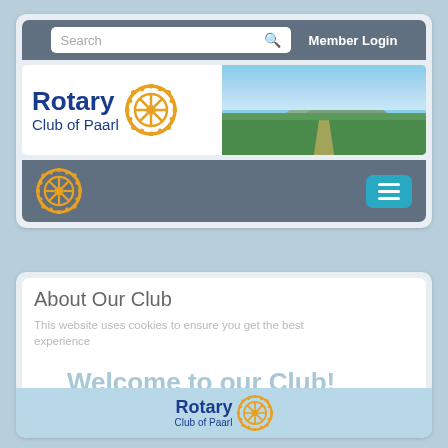[Figure (screenshot): Rotary Club of Paarl website screenshot showing search bar with Member Login, logo banner with landscape photo, navigation bar with hamburger menu, About Our Club section, cookie notice overlay, Welcome to our Club overlay text, and footer with Rotary Club of Paarl logo]
About Our Club
This website uses cookies to ensure you get the best experience
Welcome to our Club!
Rotary Club of Paarl